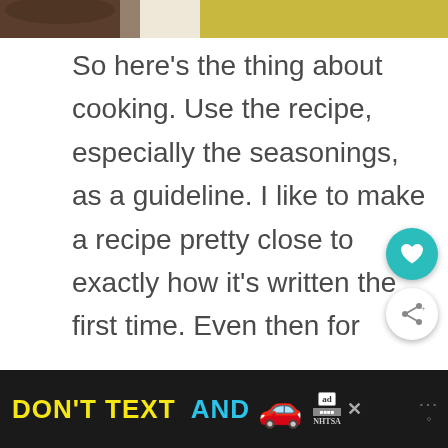[Figure (photo): Partial photo strip at top of page showing food image]
So here's the thing about cooking. Use the recipe, especially the seasonings, as a guideline. I like to make a recipe pretty close to exactly how it's written the first time. Even then for example, if I know I don't like lemon pepper I'll omit lemon pepper and just use regular black pepper. (Just an example there is not lemon pepper in this recipe.) Everybody has different taste buds therefore, adjust the seasonings to your liking. If you're baking, it's a bit more complex and you really need to know what
[Figure (infographic): NHTSA DON'T TEXT AND DRIVE advertisement banner at bottom of page with yellow and cyan text, car emoji, ad badge]